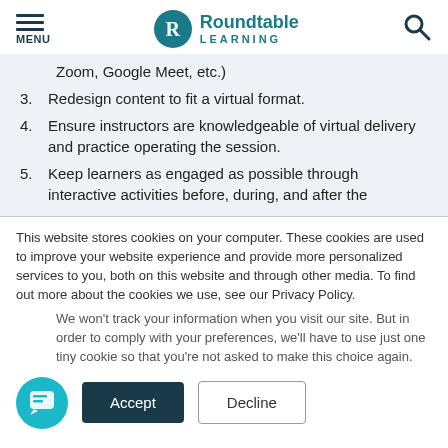MENU | Roundtable Learning
Zoom, Google Meet, etc.)
3. Redesign content to fit a virtual format.
4. Ensure instructors are knowledgeable of virtual delivery and practice operating the session.
5. Keep learners as engaged as possible through interactive activities before, during, and after the
This website stores cookies on your computer. These cookies are used to improve your website experience and provide more personalized services to you, both on this website and through other media. To find out more about the cookies we use, see our Privacy Policy.
We won't track your information when you visit our site. But in order to comply with your preferences, we'll have to use just one tiny cookie so that you're not asked to make this choice again.